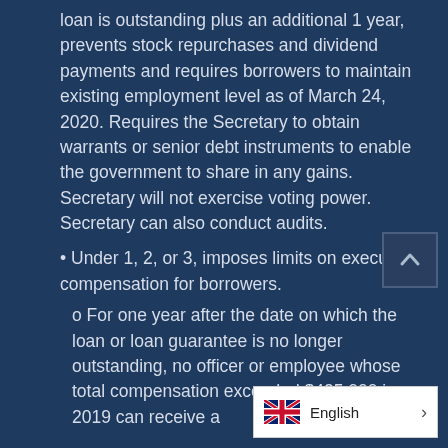loan is outstanding plus an additional 1 year, prevents stock repurchases and dividend payments and requires borrowers to maintain existing employment level as of March 24, 2020. Requires the Secretary to obtain warrants or senior debt instruments to enable the government to share in any gains. Secretary will not exercise voting power. Secretary can also conduct audits.
• Under 1, 2, or 3, imposes limits on executive compensation for borrowers.
o For one year after the date on which the loan or loan guarantee is no longer outstanding, no officer or employee whose total compensation exceeded $425,000 in 2019 can receive a [increase from 2019 level]